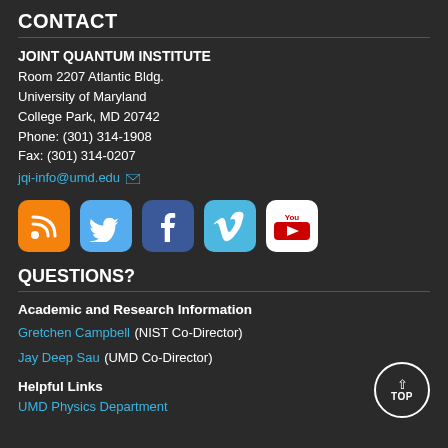CONTACT
JOINT QUANTUM INSTITUTE
Room 2207 Atlantic Bldg.
University of Maryland
College Park, MD 20742
Phone: (301) 314-1908
Fax: (301) 314-0207
jqi-info@umd.edu
[Figure (infographic): Social media icons: RSS (orange), Twitter (blue bird), Facebook (dark blue), Vimeo (light blue), YouTube (white with red play button)]
QUESTIONS?
Academic and Research Information
Gretchen Campbell (NIST Co-Director)
Jay Deep Sau (UMD Co-Director)
Helpful Links
UMD Physics Department